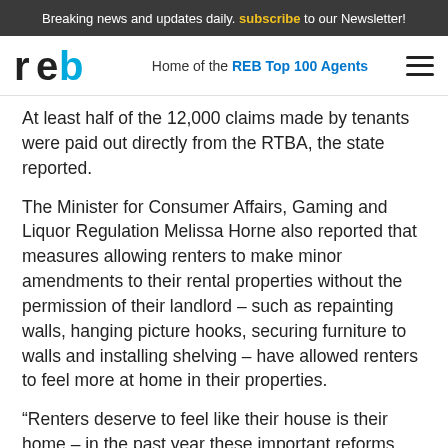Breaking news and updates daily. subscribe to our Newsletter!
Home of the REB Top 100 Agents
At least half of the 12,000 claims made by tenants were paid out directly from the RTBA, the state reported.
The Minister for Consumer Affairs, Gaming and Liquor Regulation Melissa Horne also reported that measures allowing renters to make minor amendments to their rental properties without the permission of their landlord – such as repainting walls, hanging picture hooks, securing furniture to walls and installing shelving – have allowed renters to feel more at home in their properties.
“Renters deserve to feel like their house is their home – in the past year these important reforms have made that even more possible for the millions of Victorians who are living in a rental property,” Ms